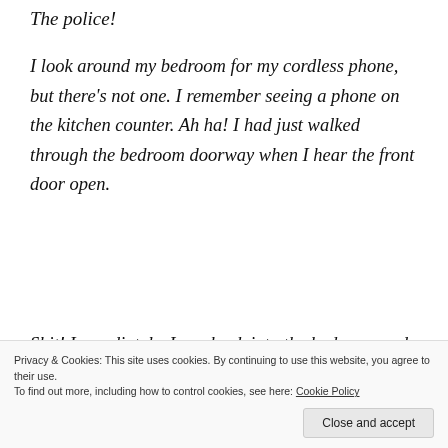The police!
I look around my bedroom for my cordless phone, but there's not one. I remember seeing a phone on the kitchen counter. Ah ha! I had just walked through the bedroom doorway when I hear the front door open.
Shit! Immediately, I run back into the bedroom and hide on the far side of the bed. What do I do now? What if this person is dangerous? I need a weapon or something I can use to defend myself. I raise up
Privacy & Cookies: This site uses cookies. By continuing to use this website, you agree to their use.
To find out more, including how to control cookies, see here: Cookie Policy
Close and accept